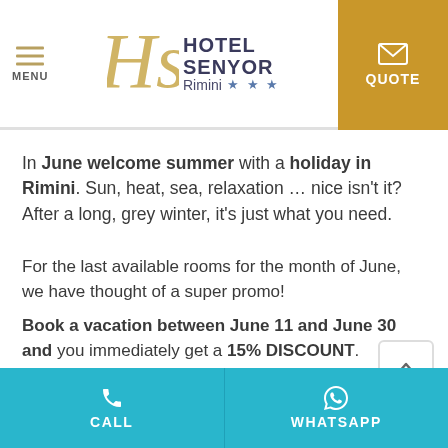[Figure (logo): Hotel Senyor logo with HG monogram, hotel name, Rimini location and three stars, plus QUOTE button in gold]
In June welcome summer with a holiday in Rimini. Sun, heat, sea, relaxation … nice isn't it? After a long, grey winter, it's just what you need.
For the last available rooms for the month of June, we have thought of a super promo!
Book a vacation between June 11 and June 30 and you immediately get a 15% DISCOUNT.
CALL  WHATSAPP